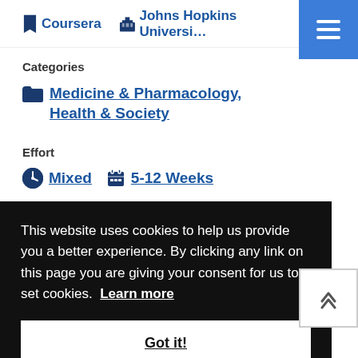Coursera  Johns Hopkins Universi…
Categories
Medicine & Pharmacology, Health & Society
Effort
Mixed  5-12 Weeks
This website uses cookies to help us provide you a better experience. By clicking any link on this page you are giving your consent for us to set cookies.  Learn more
Got it!
care is central for achieving Health for All. It